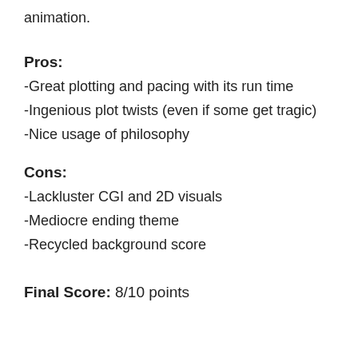animation.
Pros:
-Great plotting and pacing with its run time
-Ingenious plot twists (even if some get tragic)
-Nice usage of philosophy
Cons:
-Lackluster CGI and 2D visuals
-Mediocre ending theme
-Recycled background score
Final Score: 8/10 points